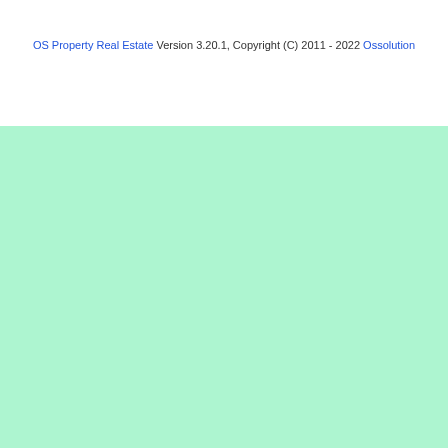OS Property Real Estate Version 3.20.1, Copyright (C) 2011 - 2022 Ossolution
[Figure (other): Large mint/light green background area filling the lower portion of the page]